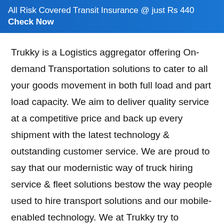All Risk Covered Transit Insurance @ just Rs 440 Check Now
Trukky is a Logistics aggregator offering On-demand Transportation solutions to cater to all your goods movement in both full load and part load capacity. We aim to deliver quality service at a competitive price and back up every shipment with the latest technology & outstanding customer service. We are proud to say that our modernistic way of truck hiring service & fleet solutions bestow the way people used to hire transport solutions and our mobile-enabled technology. We at Trukky try to support our customers for their customized requirements which are not feasible for a local transporter. Direct connection with the Drivers and Fleet owners allows eradicating the Brokers / Transporters margin and hence reducing the expenses/cost for the customer. A large network of Drivers / Fleet owners from